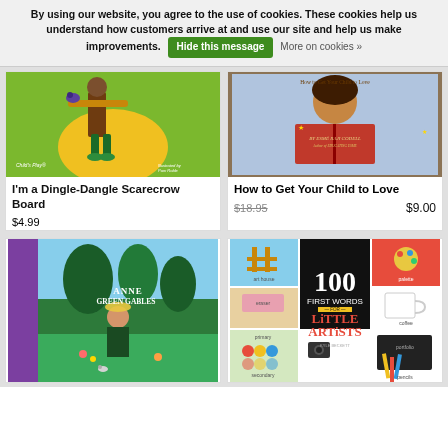By using our website, you agree to the use of cookies. These cookies help us understand how customers arrive at and use our site and help us make improvements. Hide this message  More on cookies »
[Figure (photo): Book cover: I'm a Dingle-Dangle Scarecrow, colorful children's book with green/yellow tones, published by Child's Play]
I'm a Dingle-Dangle Scarecrow Board
$4.99
[Figure (photo): Book cover: How to Get Your Child to Love, red cover with girl reading, by Esmé Raji Codell]
How to Get Your Child to Love
$18.95  $9.00
[Figure (photo): Book cover: Anne of Green Gables, illustrated box set with girl in green garden scene]
[Figure (photo): Book cover: 100 First Words for Little Artists, colorful grid layout with art supplies and black background title]